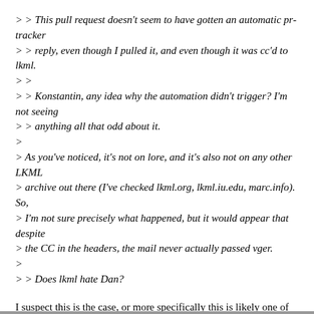> > This pull request doesn't seem to have gotten an automatic pr-tracker
> > reply, even though I pulled it, and even though it was cc'd to lkml.
> >
> > Konstantin, any idea why the automation didn't trigger? I'm not seeing
> > anything all that odd about it.
>
> As you've noticed, it's not on lore, and it's also not on any other LKML
> archive out there (I've checked lkml.org, lkml.iu.edu, marc.info). So,
> I'm not sure precisely what happened, but it would appear that despite
> the CC in the headers, the mail never actually passed vger.
>
> > Does lkml hate Dan?
I suspect this is the case, or more specifically this is likely one of those times where vger needed to put the Intel mail servers in a time-out for bouncing too many mails.